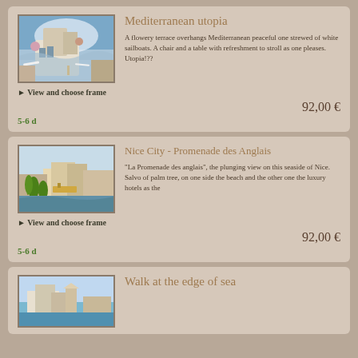[Figure (illustration): Painting of a flowery Mediterranean terrace with white sailboats on the sea]
Mediterranean utopia
A flowery terrace overhangs Mediterranean peaceful one strewed of white sailboats. A chair and a table with refreshment to stroll as one pleases. Utopia!??
► View and choose frame
92,00 €
5-6 d
[Figure (illustration): Painting of Nice City Promenade des Anglais with palm trees, beach and hotels]
Nice City - Promenade des Anglais
"La Promenade des anglais", the plunging view on this seaside of Nice. Salvo of palm tree, on one side the beach and the other one the luxury hotels as the
► View and choose frame
92,00 €
5-6 d
[Figure (illustration): Painting of a coastal town at the edge of the sea]
Walk at the edge of sea